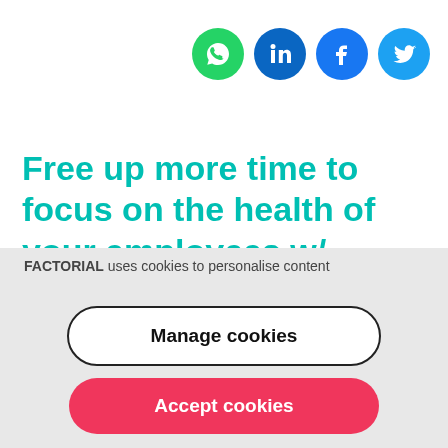[Figure (other): Social media share icons: WhatsApp (green circle), LinkedIn (dark blue circle), Facebook (blue circle), Twitter (light blue circle)]
Free up more time to focus on the health of your employees w/ Factorial's HR management software.
FACTORIAL uses cookies to personalise content
Manage cookies
Accept cookies